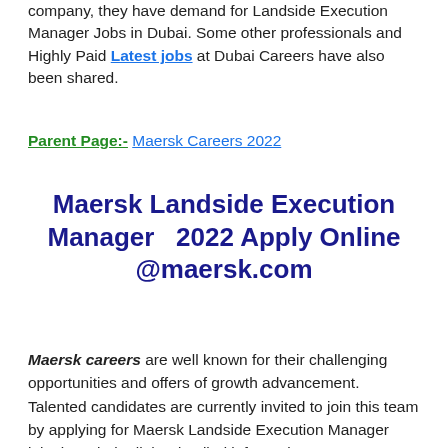company, they have demand for Landside Execution Manager Jobs in Dubai. Some other professionals and Highly Paid Latest jobs at Dubai Careers have also been shared.
Parent Page:- Maersk Careers 2022
Maersk Landside Execution Manager  2022 Apply Online @maersk.com
Maersk careers are well known for their challenging opportunities and offers of growth advancement. Talented candidates are currently invited to join this team by applying for Maersk Landside Execution Manager jobs in Dubai. All the detailed information on current Landside Execution Manager Vacancies at Maersk has been discussed below. Additionally, freshers can also access the list of various other available Maersk Jobs in UAE.